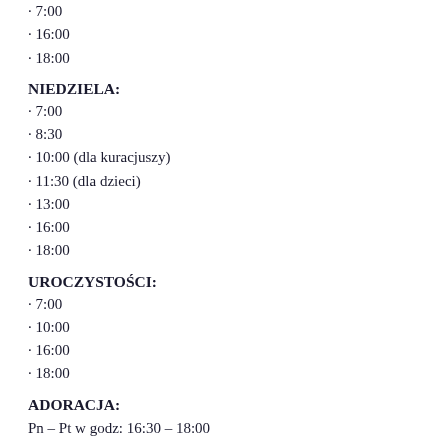· 7:00
· 16:00
· 18:00
NIEDZIELA:
· 7:00
· 8:30
· 10:00 (dla kuracjuszy)
· 11:30 (dla dzieci)
· 13:00
· 16:00
· 18:00
UROCZYSTOŚCI:
· 7:00
· 10:00
· 16:00
· 18:00
ADORACJA:
Pn – Pt w godz: 16:30 – 18:00
Kancelaria parafialna
Poniedziałek – Piątek: